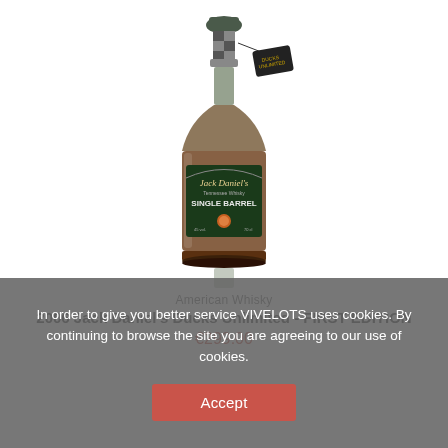[Figure (photo): Jack Daniel's Single Barrel 2006 Ducks Unlimited First Edition whisky bottle with black stopper, green label, and a hanging Ducks Unlimited tag]
American Whisky
2006 Jack Daniel's Ducks Unlimited - FIRST EDITION
€299.00
In order to give you better service VIVELOTS uses cookies. By continuing to browse the site you are agreeing to our use of cookies.
Accept